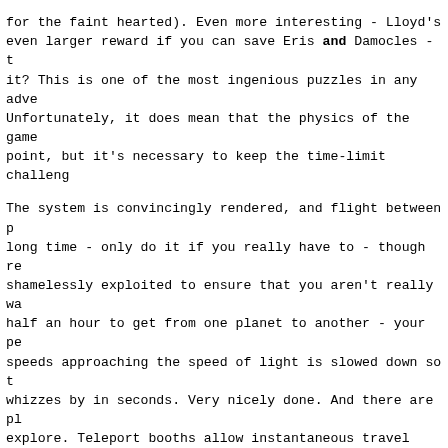for the faint hearted). Even more interesting - Lloyd's even larger reward if you can save Eris and Damocles - it? This is one of the most ingenious puzzles in any adve Unfortunately, it does mean that the physics of the game point, but it's necessary to keep the time-limit challen
The system is convincingly rendered, and flight between p long time - only do it if you really have to - though re shamelessly exploited to ensure that you aren't really wa half an hour to get from one planet to another - your pe speeds approaching the speed of light is slowed down so t whizzes by in seconds. Very nicely done. And there are p explore. Teleport booths allow instantaneous travel betwe is necessary to completing the game, given the dimensions You can even drive vehicles through these teleporters - t of destinations is then limited to those teleporters whic buildings. Not all are. And not all the planets are espec to life - you may need to find a pressure suit to visit a
Most of the action comes in visiting buildings in the cit processor time down on an A500, buildings in the cities a spread out, so you can only see one at a time. This seems at first, and it is a very bare system - you'll hardly me inhabitants, they've been left out to keep the game simpl well in practice. The game still crawls along in parts - processor (though no doubt because WHDLoad has to degrade it's not working at its peak). You may need some patience more complicated sections. The majority of buildings are the whole task can seem incredibly daunting at first, but clues where to look from the start (using your on-line g